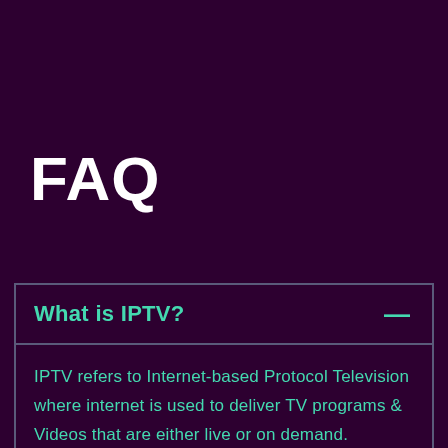FAQ
What is IPTV?
IPTV refers to Internet-based Protocol Television where internet is used to deliver TV programs & Videos that are either live or on demand.